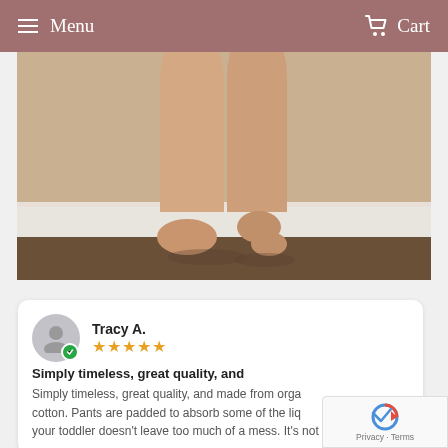Menu   Cart
[Figure (photo): Close-up photo of a toddler's bare legs and feet standing on a carpeted floor near a white baseboard]
Tracy A.
★★★★★
Simply timeless, great quality, and
Simply timeless, great quality, and made from orga... cotton. Pants are padded to absorb some of the liq... your toddler doesn't leave too much of a mess. It's not...